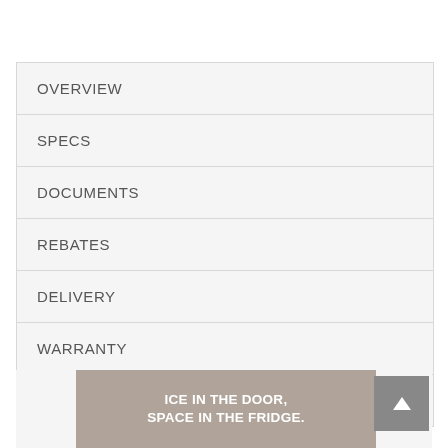OVERVIEW
SPECS
DOCUMENTS
REBATES
DELIVERY
WARRANTY
REVIEWS (387)
[Figure (illustration): Promotional banner with tan/brown background and white bold text reading: ICE IN THE DOOR, SPACE IN THE FRIDGE.]